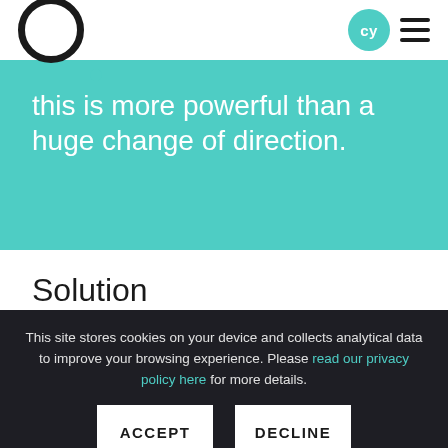[Figure (logo): Dark circular ring logo with a small teal dot, with 'cy' teal circle badge and hamburger menu on the right]
this is more powerful than a huge change of direction.
Solution
This site stores cookies on your device and collects analytical data to improve your browsing experience. Please read our privacy policy here for more details.
ACCEPT
DECLINE